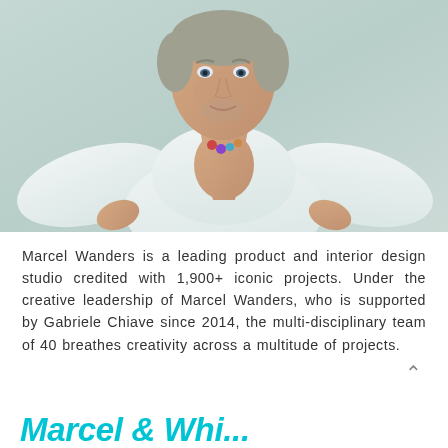[Figure (photo): Portrait photo of Marcel Wanders, a middle-aged man with short grey hair wearing a white open-collar shirt and a colorful necklace, posed with hands on hips against a light teal/grey background.]
Marcel Wanders is a leading product and interior design studio credited with 1,900+ iconic projects. Under the creative leadership of Marcel Wanders, who is supported by Gabriele Chiave since 2014, the multi-disciplinary team of 40 breathes creativity across a multitude of projects.
Marcel Wand...